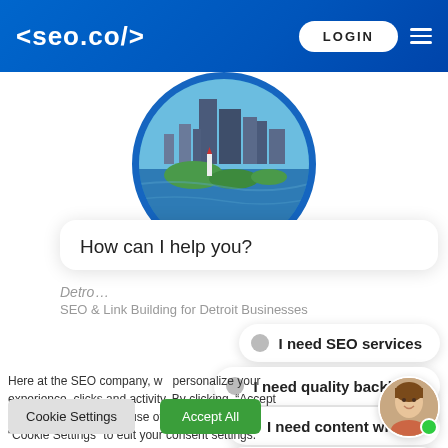<seo.co/>  LOGIN
[Figure (photo): Circular photo of Detroit city skyline and waterfront with lighthouse and park, overlaid on blue circle resembling a chat avatar]
How can I help you?
Detr... SEO & Link Building for Detroit Businesses
I need SEO services
I need quality backlinks
I need content writing
I'm looking for pricing
Here at the SEO company, we personalize your experience clicks and activity. By clicking "Accept All" you consent to the use of all the cookie "Cookie Settings" to edit your consent settings.
Cookie Settings
Accept All
[Figure (photo): Small circular avatar of a smiling woman with brown hair, with a green online status dot]